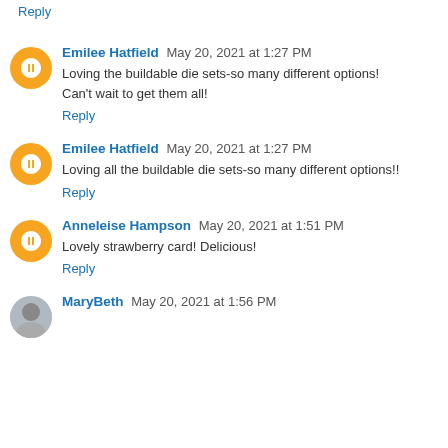Reply
Emilee Hatfield May 20, 2021 at 1:27 PM
Loving the buildable die sets-so many different options! Can't wait to get them all!
Reply
Emilee Hatfield May 20, 2021 at 1:27 PM
Loving all the buildable die sets-so many different options!!
Reply
Anneleise Hampson May 20, 2021 at 1:51 PM
Lovely strawberry card! Delicious!
Reply
MaryBeth May 20, 2021 at 1:56 PM